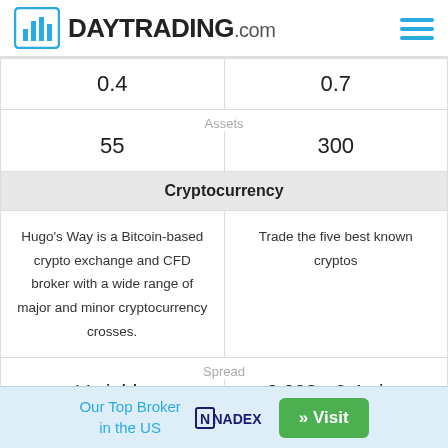DAYTRADING.com
| 0.4 | 0.7 |
| Assets |  |
| 55 | 300 |
| Cryptocurrency |  |
| Hugo's Way is a Bitcoin-based crypto exchange and CFD broker with a wide range of major and minor cryptocurrency crosses. | Trade the five best known cryptos |
| Spread |  |
| Variable | 0.008 - 6.4 pips |
| Coins |  |
Our Top Broker in the US  NADEX  » Visit